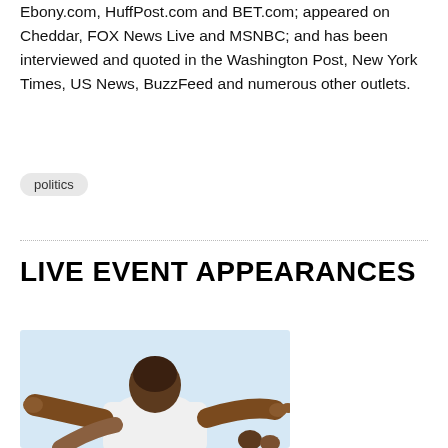Ebony.com, HuffPost.com and BET.com; appeared on Cheddar, FOX News Live and MSNBC; and has been interviewed and quoted in the Washington Post, New York Times, US News, BuzzFeed and numerous other outlets.
politics
LIVE EVENT APPEARANCES
[Figure (illustration): Illustration of a person seen from behind, wearing a white shirt, with arms outstretched, on a light blue background.]